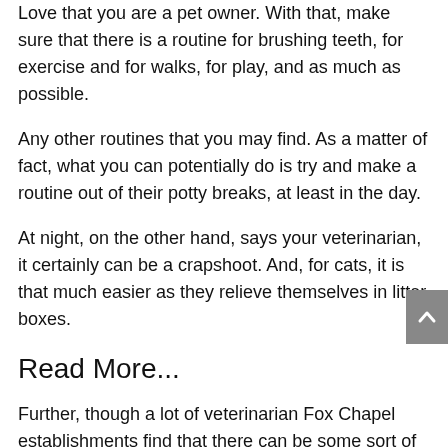Love that you are a pet owner. With that, make sure that there is a routine for brushing teeth, for exercise and for walks, for play, and as much as possible.
Any other routines that you may find. As a matter of fact, what you can potentially do is try and make a routine out of their potty breaks, at least in the day.
At night, on the other hand, says your veterinarian, it certainly can be a crapshoot. And, for cats, it is that much easier as they relieve themselves in litter boxes.
Read More...
Further, though a lot of veterinarian Fox Chapel establishments find that there can be some sort of cause for concern within the veterinary industry.
Particularly over the last three years of the pandemic. What happens and is happening right